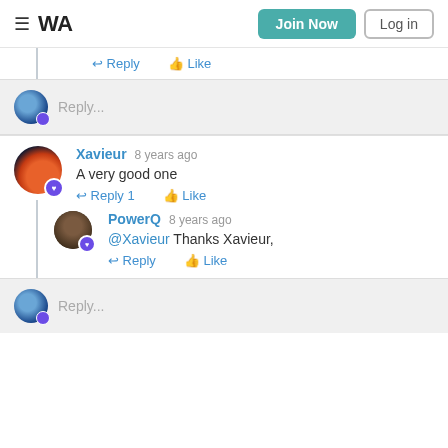WA — Join Now | Log in
↩ Reply  👍 Like
Reply...
Xavieur  8 years ago
A very good one
↩ Reply 1  👍 Like
PowerQ  8 years ago
@Xavieur Thanks Xavieur,
↩ Reply  👍 Like
Reply...